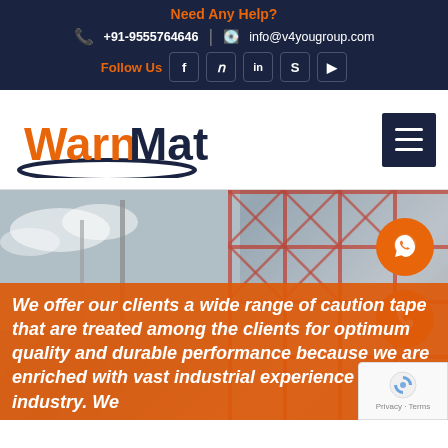Need Any Help?
+91-9555764646  |  info@v4yougroup.com
Follow Us
[Figure (logo): WarnMat company logo with orange and dark blue text and a swoosh underline]
[Figure (photo): Industrial scaffolding and electrical tower structure with cloudy sky background]
We offer our clients a wide range of caution tape that are treated among the clients for optimum quality and durable performance because we are enriched with vast industrial experience in the industry. We